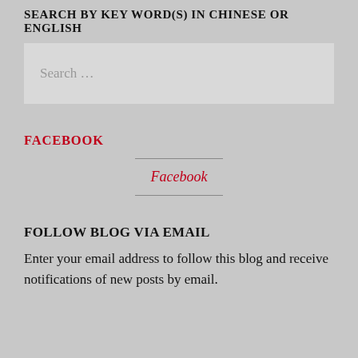SEARCH BY KEY WORD(S) IN CHINESE OR ENGLISH
Search …
FACEBOOK
[Figure (other): Facebook widget with horizontal rules above and below a centered italic red 'Facebook' link]
FOLLOW BLOG VIA EMAIL
Enter your email address to follow this blog and receive notifications of new posts by email.